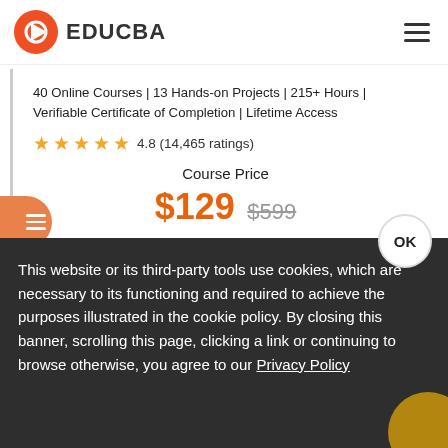[Figure (logo): EDUCBA logo with red play button icon and text EDUCBA]
40 Online Courses | 13 Hands-on Projects | 215+ Hours | Verifiable Certificate of Completion | Lifetime Access
4.8 (14,465 ratings)
Course Price
$129 $599
View Course
This website or its third-party tools use cookies, which are necessary to its functioning and required to achieve the purposes illustrated in the cookie policy. By closing this banner, scrolling this page, clicking a link or continuing to browse otherwise, you agree to our Privacy Policy
OK